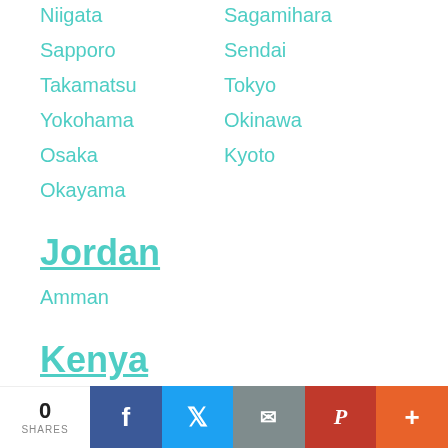Niigata
Sagamihara
Sapporo
Sendai
Takamatsu
Tokyo
Yokohama
Okinawa
Osaka
Kyoto
Okayama
Jordan
Amman
Kenya
Mombasa
Nairobi
Korea
0 SHARES | Facebook | Twitter | Email | Pinterest | More